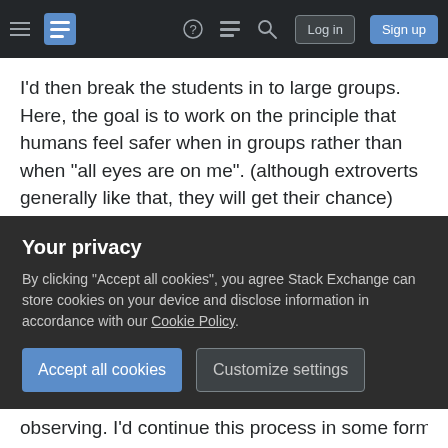Stack Exchange navigation bar with hamburger menu, logo, help, chat, search icons, Log in and Sign up buttons
I'd then break the students in to large groups. Here, the goal is to work on the principle that humans feel safer when in groups rather than when "all eyes are on me". (although extroverts generally like that, they will get their chance)
Here, a round table type of discussion could be had. Very informal but with purpose. e.g., about life, about learning the subject matter, etc. Allow students to acclimate to what is going and to become less defensive by interacting with those
Your privacy
By clicking "Accept all cookies", you agree Stack Exchange can store cookies on your device and disclose information in accordance with our Cookie Policy.
Accept all cookies
Customize settings
observing. I'd continue this process in some form or